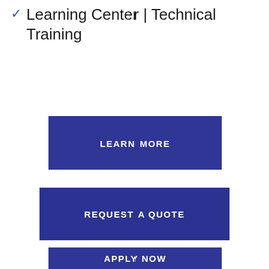Learning Center | Technical Training
LEARN MORE
REQUEST A QUOTE
APPLY NOW